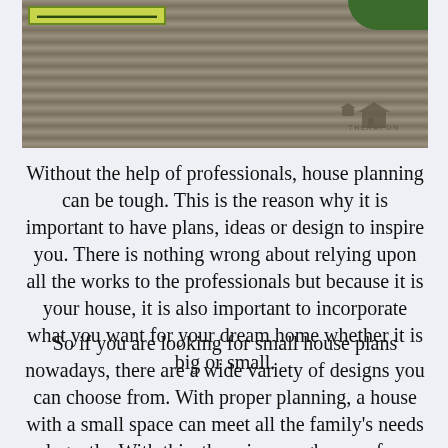[Figure (photo): Photo of a wooden deck surface with weathered grey wood grain texture, green foliage in the top right corner, and a watermark logo reading THERAPON in the bottom right.]
Without the help of professionals, house planning can be tough. This is the reason why it is important to have plans, ideas or design to inspire you. There is nothing wrong about relying upon all the works to the professionals but because it is your house, it is also important to incorporate what you want for your dream home whether it is big or small.
So if you are looking for small house plans nowadays, there are a wide variety of designs you can choose from. With proper planning, a house with a small space can meet all the family's needs elegantly. With this, there is enough room for a